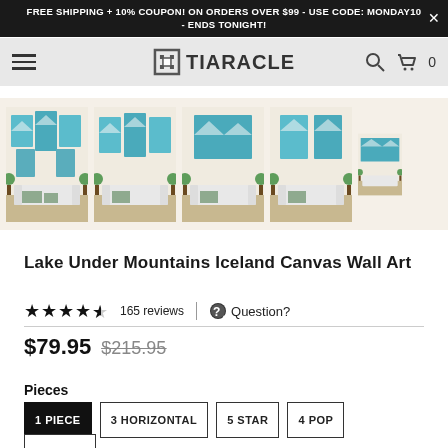FREE SHIPPING + 10% COUPON! ON ORDERS OVER $99 - USE CODE: MONDAY10 - ENDS TONIGHT!
[Figure (logo): Tiaracle logo with hamburger menu, search icon, and cart with 0 items]
[Figure (photo): Five product thumbnail images of Lake Under Mountains Iceland Canvas Wall Art displayed on walls in living room settings]
Lake Under Mountains Iceland Canvas Wall Art
4.5 stars, 165 reviews | Question?
$79.95  $215.95
Pieces
1 PIECE
3 HORIZONTAL
5 STAR
4 POP